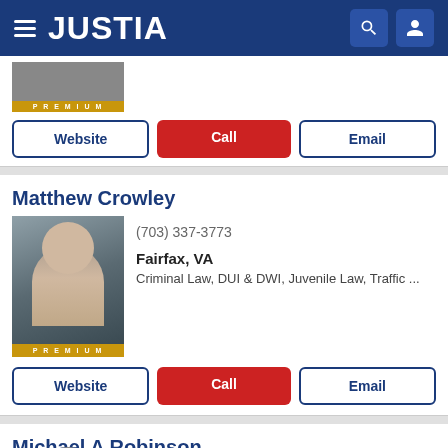JUSTIA
[Figure (photo): Partial photo of attorney with PREMIUM badge]
Website | Call | Email
Matthew Crowley
[Figure (photo): Photo of Matthew Crowley attorney with PREMIUM badge]
(703) 337-3773
Fairfax, VA
Criminal Law, DUI & DWI, Juvenile Law, Traffic ...
Website | Call | Email
Michael A Robinson
[Figure (photo): Black and white photo of Michael A Robinson attorney]
(888) 259-9787
Fairfax, VA